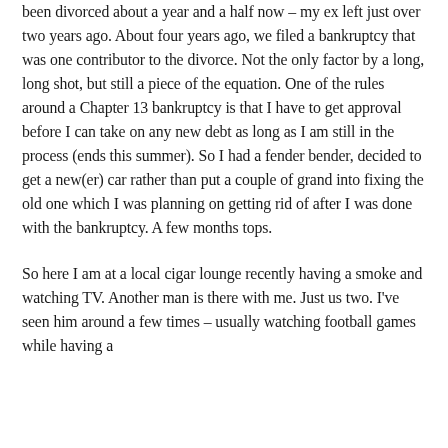been divorced about a year and a half now – my ex left just over two years ago. About four years ago, we filed a bankruptcy that was one contributor to the divorce. Not the only factor by a long, long shot, but still a piece of the equation. One of the rules around a Chapter 13 bankruptcy is that I have to get approval before I can take on any new debt as long as I am still in the process (ends this summer). So I had a fender bender, decided to get a new(er) car rather than put a couple of grand into fixing the old one which I was planning on getting rid of after I was done with the bankruptcy. A few months tops.
So here I am at a local cigar lounge recently having a smoke and watching TV. Another man is there with me. Just us two. I've seen him around a few times – usually watching football games while having a